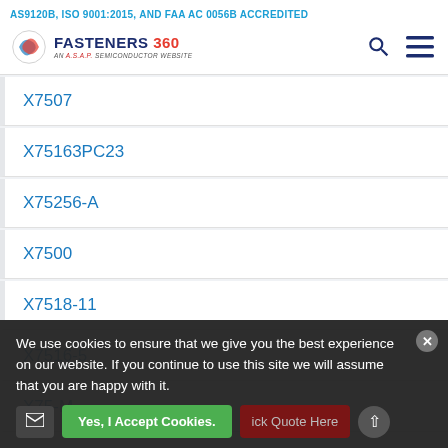AS9120B, ISO 9001:2015, AND FAA AC 0056B ACCREDITED
[Figure (logo): Fasteners 360 logo - an A.S.A.P. Semiconductor website, with search and menu icons]
X7507
X75163PC23
X75256-A
X7500
X7518-11
X7516-5
X75-M
We use cookies to ensure that we give you the best experience on our website. If you continue to use this site we will assume that you are happy with it.